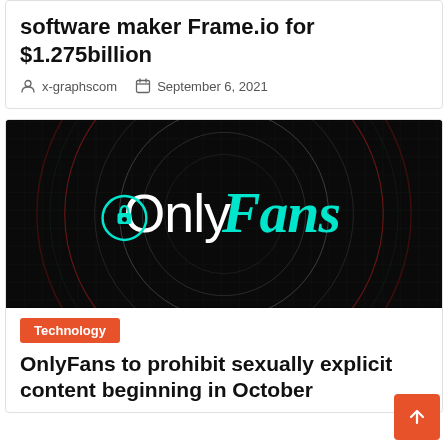software maker Frame.io for $1.275 billion
x-graphscom  September 6, 2021
[Figure (logo): OnlyFans logo on black background with concentric circles grid pattern. Teal/cyan colored 'OnlyFans' text with a circular lock icon replacing the 'O'.]
Technology
OnlyFans to prohibit sexually explicit content beginning in October